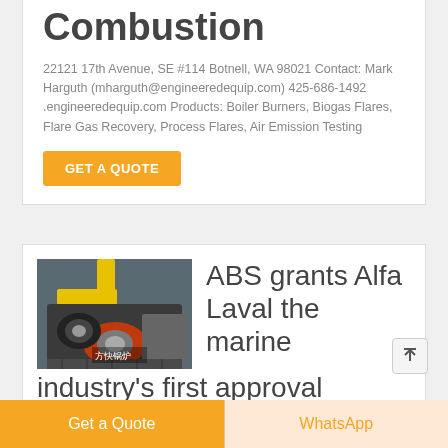Combustion
22121 17th Avenue, SE #114 Botnell, WA 98021 Contact: Mark Harguth (mharguth@engineeredequip.com) 425-686-1492 .engineeredequip.com Products: Boiler Burners, Biogas Flares, Flare Gas Recovery, Process Flares, Air Emission Testing
GET A QUOTE
[Figure (photo): Industrial boiler burner equipment with yellow pipe and orange/grey machinery components, with Chinese text visible]
ABS grants Alfa Laval the marine industry's first approval
Get a Quote
WhatsApp